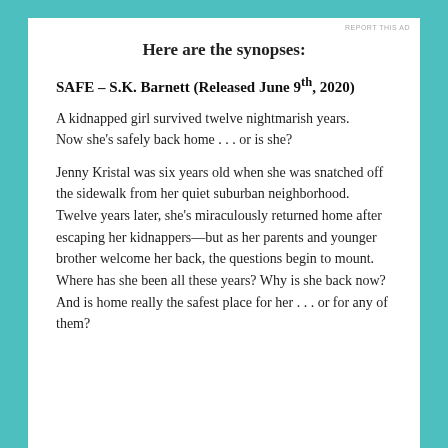REPORT THIS AD
Here are the synopses:
SAFE – S.K. Barnett (Released June 9th, 2020)
A kidnapped girl survived twelve nightmarish years.
Now she’s safely back home . . . or is she?
Jenny Kristal was six years old when she was snatched off the sidewalk from her quiet suburban neighborhood. Twelve years later, she’s miraculously returned home after escaping her kidnappers—but as her parents and younger brother welcome her back, the questions begin to mount. Where has she been all these years? Why is she back now? And is home really the safest place for her . . . or for any of them?